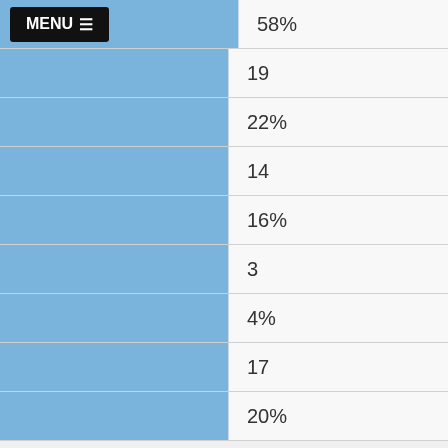|  | Value |
| --- | --- |
| MENU ≡ | 58% |
|  | 19 |
|  | 22% |
|  | 14 |
|  | 16% |
|  | 3 |
|  | 4% |
|  | 17 |
|  | 20% |
Male
|  | Value |
| --- | --- |
|  | 99 |